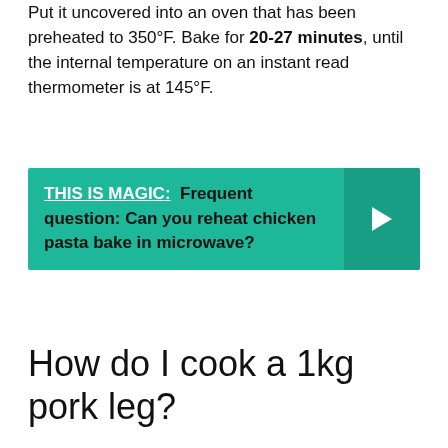Put it uncovered into an oven that has been preheated to 350°F. Bake for 20-27 minutes, until the internal temperature on an instant read thermometer is at 145°F.
THIS IS MAGIC: Frequent question: Can you reheat chicken pasta bake in microwave?
How do I cook a 1kg pork leg?
Preheat your oven to 220˚C/Gas 7. Season and oil the joint generously on all sides. Roast for 20 mins, or until the skin has started to turn golden and begins to look like crackling. Drop the heat to 180˚C/Gas 4